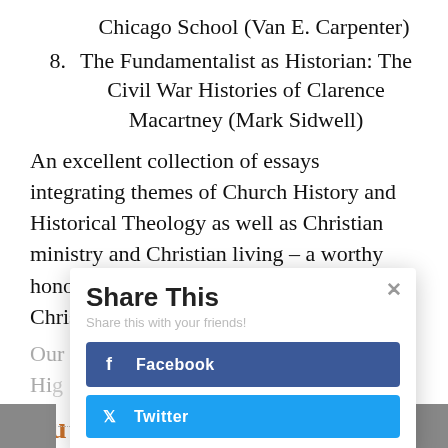Chicago School (Van E. Carpenter)
8. The Fundamentalist as Historian: The Civil War Histories of Clarence Macartney (Mark Sidwell)
An excellent collection of essays integrating themes of Church History and Historical Theology as well as Christian ministry and Christian living – a worthy honor to a faithful professor and minister of Christ.
Our [thanks/congratulations] to Allen Mickle and [?]. High[lands?] [?]
Bu[y]
[Figure (screenshot): Share This modal overlay with Facebook and Twitter share buttons]